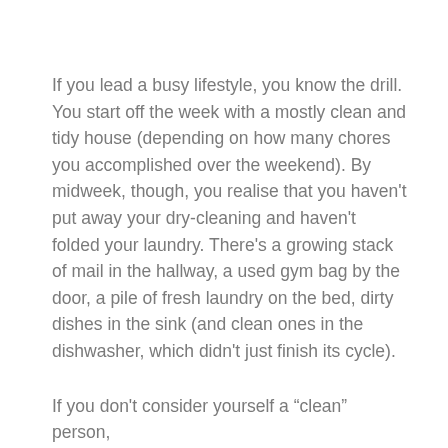If you lead a busy lifestyle, you know the drill. You start off the week with a mostly clean and tidy house (depending on how many chores you accomplished over the weekend). By midweek, though, you realise that you haven't put away your dry-cleaning and haven't folded your laundry. There's a growing stack of mail in the hallway, a used gym bag by the door, a pile of fresh laundry on the bed, dirty dishes in the sink (and clean ones in the dishwasher, which didn't just finish its cycle).
If you don't consider yourself a "clean" person,